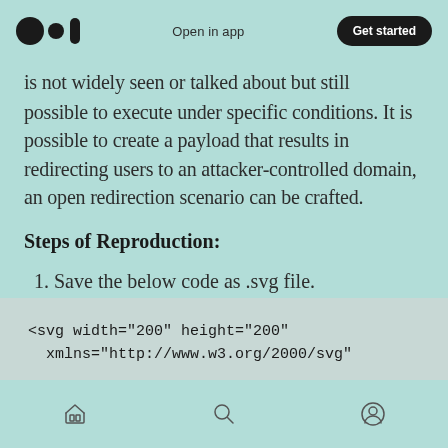Open in app | Get started
is not widely seen or talked about but still possible to execute under specific conditions. It is possible to create a payload that results in redirecting users to an attacker-controlled domain, an open redirection scenario can be crafted.
Steps of Reproduction:
1. Save the below code as .svg file.
<svg width="200" height="200"
  xmlns="http://www.w3.org/2000/svg"